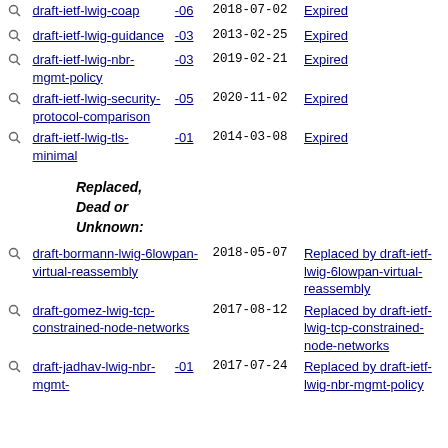draft-ietf-lwig-coap -06 2018-07-02 Expired
draft-ietf-lwig-guidance -05 2013-02-25 Expired
draft-ietf-lwig-nbr-mgmt-policy -03 2019-02-21 Expired
draft-ietf-lwig-security-protocol-comparison -05 2020-11-02 Expired
draft-ietf-lwig-tls-minimal -01 2014-03-08 Expired
Replaced, Dead or Unknown:
draft-bormann-lwig-6lowpan-virtual-reassembly 2018-05-07 Replaced by draft-ietf-lwig-6lowpan-virtual-reassembly
draft-gomez-lwig-tcp-constrained-node-networks 2017-08-12 Replaced by draft-ietf-lwig-tcp-constrained-node-networks
draft-jadhav-lwig-nbr-mgmt- -01 2017-07-24 Replaced by draft-ietf-lwig-nbr-mgmt-policy